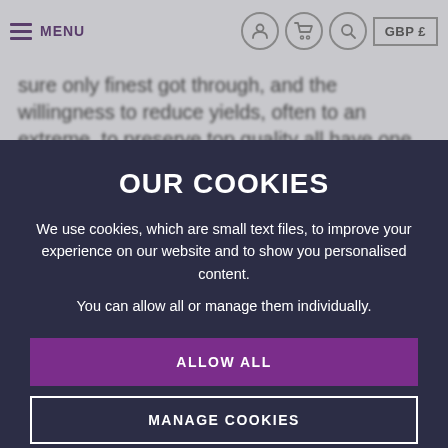MENU  [user icon] [basket icon] [search icon]  GBP £
sure only finest got through, and the willingness to reduce yields, often to an extreme, to preserve top quality all have one thing in common – they're expensive. Hubert de
OUR COOKIES
We use cookies, which are small text files, to improve your experience on our website and to show you personalised content.
You can allow all or manage them individually.
ALLOW ALL
MANAGE COOKIES